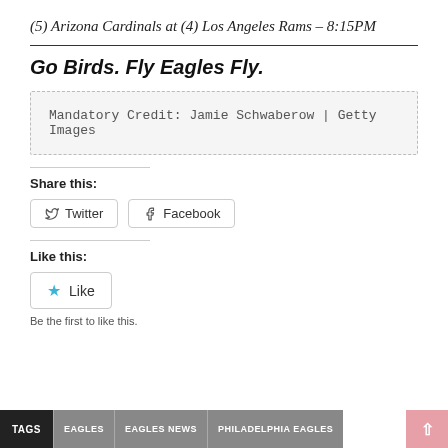(5) Arizona Cardinals at (4) Los Angeles Rams – 8:15PM
Go Birds. Fly Eagles Fly.
Mandatory Credit: Jamie Schwaberow | Getty Images
Share this:
Twitter Facebook
Like this:
Like
Be the first to like this.
TAGS  EAGLES  EAGLES NEWS  PHILADELPHIA EAGLES